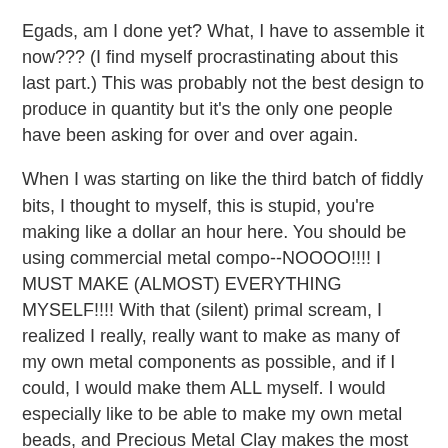Egads, am I done yet? What, I have to assemble it now??? (I find myself procrastinating about this last part.) This was probably not the best design to produce in quantity but it's the only one people have been asking for over and over again.
When I was starting on like the third batch of fiddly bits, I thought to myself, this is stupid, you're making like a dollar an hour here. You should be using commercial metal compo---NOOOO!!!! I MUST MAKE (ALMOST) EVERYTHING MYSELF!!!! With that (silent) primal scream, I realized I really, really want to make as many of my own metal components as possible, and if I could, I would make them ALL myself. I would especially like to be able to make my own metal beads, and Precious Metal Clay makes the most sense to me for that. And as soon as I can figure out how to clone myself and send the clone to my day job, that's what I'm going to do. Anybody know any good Mad Scientists?
Keirsten
My Etsy Shop
My Blog